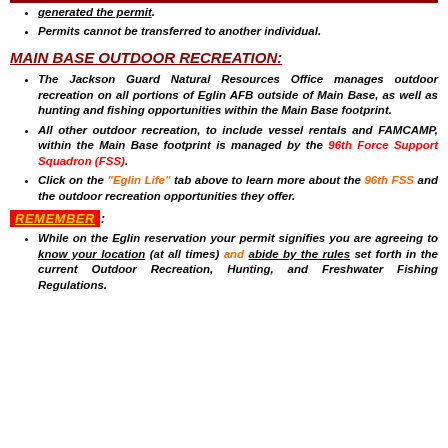generated the permit.
Permits cannot be transferred to another individual.
MAIN BASE OUTDOOR RECREATION:
The Jackson Guard Natural Resources Office manages outdoor recreation on all portions of Eglin AFB outside of Main Base, as well as hunting and fishing opportunities within the Main Base footprint.
All other outdoor recreation, to include vessel rentals and FAMCAMP, within the Main Base footprint is managed by the 96th Force Support Squadron (FSS).
Click on the "Eglin Life" tab above to learn more about the 96th FSS and the outdoor recreation opportunities they offer.
REMEMBER:
While on the Eglin reservation your permit signifies you are agreeing to know your location (at all times) and abide by the rules set forth in the current Outdoor Recreation, Hunting, and Freshwater Fishing Regulations.